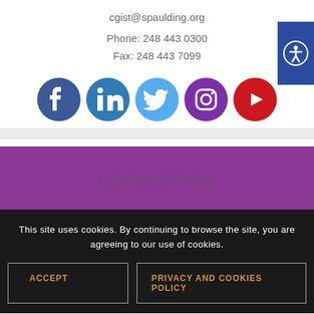cgist@spaulding.org
Phone: 248 443 0300
Fax: 248 443 7099
[Figure (illustration): Row of five social media icons: Facebook (dark blue circle), LinkedIn (blue circle), Twitter (light blue circle), Instagram (purple circle), YouTube (red circle)]
[Figure (illustration): Accessibility icon button on blue background, positioned at right edge]
This site uses cookies. By continuing to browse the site, you are agreeing to our use of cookies.
ACCEPT
PRIVACY AND COOKIES POLICY
NEWSLETTER
First Name